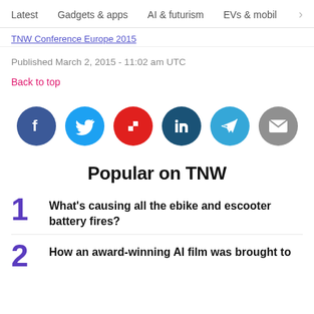Latest   Gadgets & apps   AI & futurism   EVs & mobil  >
TNW Conference Europe 2015
Published March 2, 2015 - 11:02 am UTC
Back to top
[Figure (infographic): Six social share buttons in circles: Facebook (blue), Twitter (light blue), Flipboard (red), LinkedIn (dark teal), Telegram (light blue), Email (gray)]
Popular on TNW
1  What's causing all the ebike and escooter battery fires?
2  How an award-winning AI film was brought to